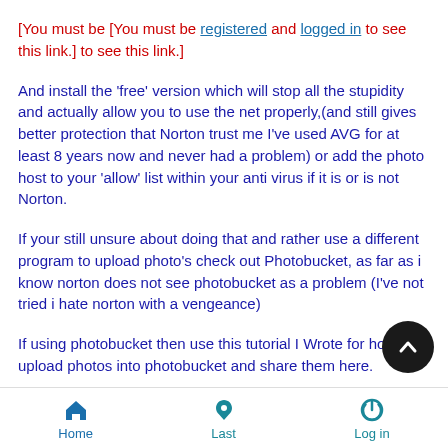[You must be [You must be registered and logged in to see this link.] to see this link.]
And install the 'free' version which will stop all the stupidity and actually allow you to use the net properly,(and still gives better protection that Norton trust me I've used AVG for at least 8 years now and never had a problem) or add the photo host to your 'allow' list within your anti virus if it is or is not Norton.
If your still unsure about doing that and rather use a different program to upload photo's check out Photobucket, as far as i know norton does not see photobucket as a problem (I've not tried i hate norton with a vengeance)
If using photobucket then use this tutorial I Wrote for how to upload photos into photobucket and share them here.
Home   Last   Log in